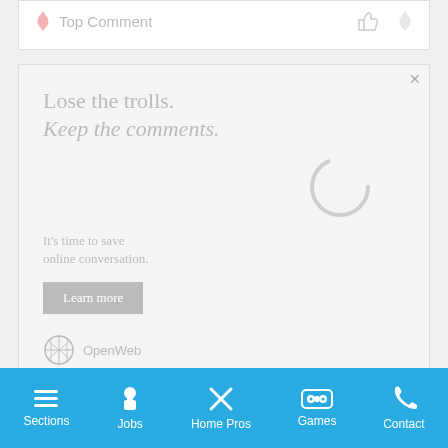Top Comment
[Figure (screenshot): Advertisement banner: 'Lose the trolls. Keep the comments.' with a loading spinner, subtext 'It's time to save online conversation.', a 'Learn more' button, and OpenWeb logo]
AdChoices  Sponsored
Sections  Jobs  Home Pros  Games  Contact